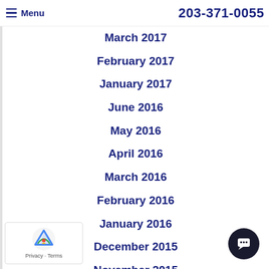≡ Menu   203-371-0055
March 2017
February 2017
January 2017
June 2016
May 2016
April 2016
March 2016
February 2016
January 2016
December 2015
November 2015
October 2015